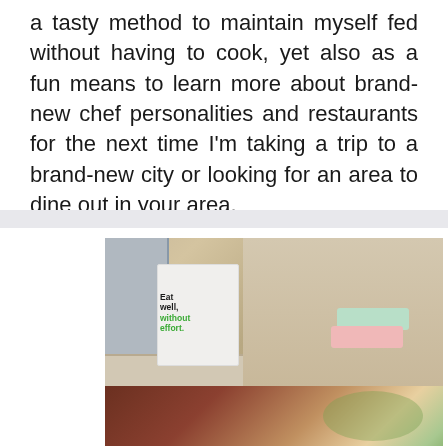a tasty method to maintain myself fed without having to cook, yet also as a fun means to learn more about brand-new chef personalities and restaurants for the next time I'm taking a trip to a brand-new city or looking for an area to dine out in your area.
[Figure (photo): A woman in a kitchen holding meal kit boxes, with a white insulated delivery bag in the foreground bearing the text 'Eat well, without effort.' Below is a close-up of a meal with a spoon and green garnish.]